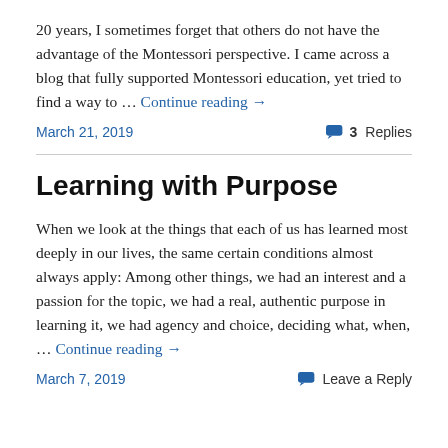20 years, I sometimes forget that others do not have the advantage of the Montessori perspective. I came across a blog that fully supported Montessori education, yet tried to find a way to … Continue reading →
March 21, 2019
3 Replies
Learning with Purpose
When we look at the things that each of us has learned most deeply in our lives, the same certain conditions almost always apply: Among other things, we had an interest and a passion for the topic, we had a real, authentic purpose in learning it, we had agency and choice, deciding what, when, … Continue reading →
March 7, 2019
Leave a Reply